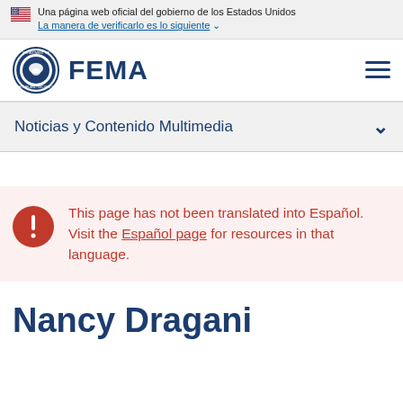Una página web oficial del gobierno de los Estados Unidos. La manera de verificarlo es lo siguiente
[Figure (logo): FEMA logo with DHS seal and FEMA wordmark]
Noticias y Contenido Multimedia
This page has not been translated into Español. Visit the Español page for resources in that language.
Nancy Dragani